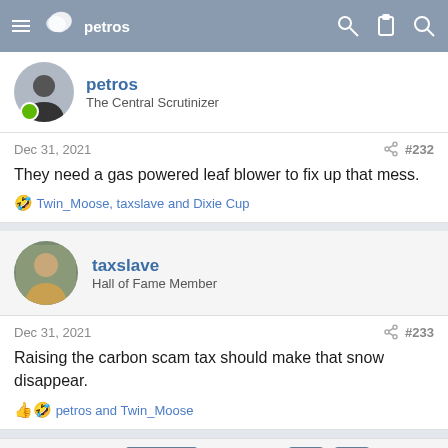Forum navigation header with petros / The Central Scrutinizer
Dec 31, 2021 #232
They need a gas powered leaf blower to fix up that mess.
🤣 Twin_Moose, taxslave and Dixie Cup
taxslave — Hall of Fame Member
Dec 31, 2021 #233
Raising the carbon scam tax should make that snow disappear.
👍🤣 petros and Twin_Moose
◄◄  ◄ Prev  12 of 12  ↑  ↓